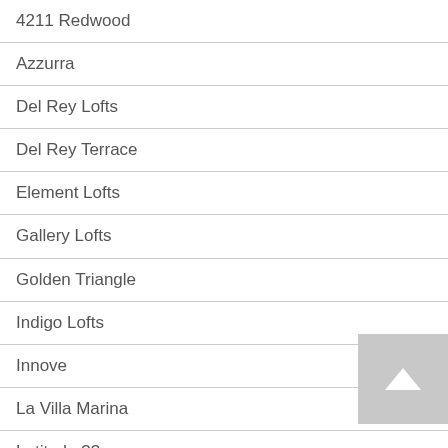4211 Redwood
Azzurra
Del Rey Lofts
Del Rey Terrace
Element Lofts
Gallery Lofts
Golden Triangle
Indigo Lofts
Innove
La Villa Marina
Latitude 33
Lofts District